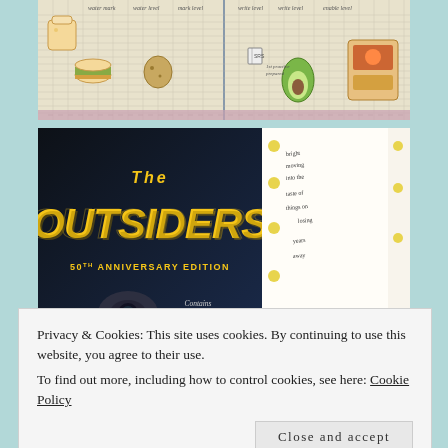[Figure (photo): Two open notebook/journal pages side by side showing grid paper with kawaii-style doodles of food items (toast, burger, potato, avocado, etc.) and handwritten column headers]
[Figure (photo): The Outsiders 50th Anniversary Edition book cover (dark background with yellow title text) next to an open annotated notebook page with yellow dot stickers and handwritten notes]
Privacy & Cookies: This site uses cookies. By continuing to use this website, you agree to their use.
To find out more, including how to control cookies, see here: Cookie Policy
[Figure (photo): Partial bottom strip showing two images: left side appears to be a book cover in blue tones, right side shows a notebook page with handwritten text and a letter D]